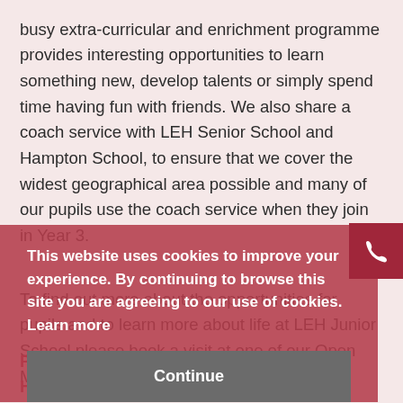busy extra-curricular and enrichment programme provides interesting opportunities to learn something new, develop talents or simply spend time having fun with friends. We also share a coach service with LEH Senior School and Hampton School, to ensure that we cover the widest geographical area possible and many of our pupils use the coach service when they join in Year 3.
To find out more about the opportunities for pupils and to learn more about life at LEH Junior School please book a visit at one of our Open Mornings. I look forward to welcoming you.
This website uses cookies to improve your experience. By continuing to browse this site you are agreeing to our use of cookies. Learn more
Continue
Paula Mortimer
Head of LEH Junior School